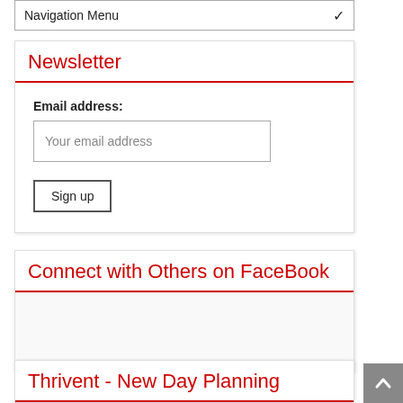Navigation Menu
Newsletter
Email address:
Your email address
Sign up
Connect with Others on FaceBook
Thrivent - New Day Planning